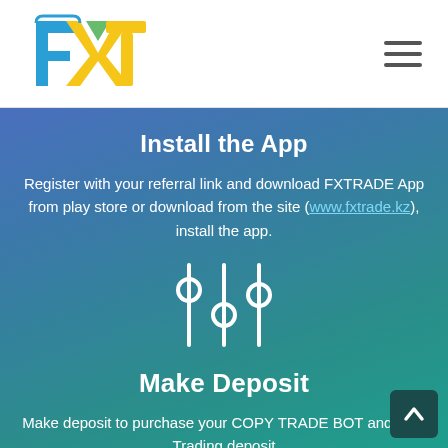[Figure (logo): FXT logo with colorful stylized letters F, X, T in blue, green, and yellow]
Install the App
Register with your referral link and download FXTRADE App from play store or download from the site (www.fxtrade.kz), install the app.
[Figure (illustration): Three vertical slider/equalizer controls icon in white]
Make Deposit
Make deposit to purchase your COPY TRADE BOT and your Trading deposit